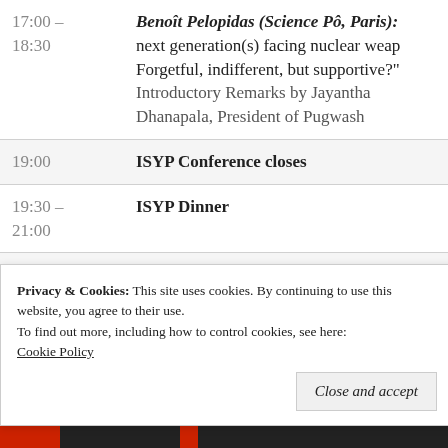| Time | Event |
| --- | --- |
| 17:00 – 18:30 | Benoît Pelopidas (Science Pô, Paris): next generation(s) facing nuclear weapons: Forgetful, indifferent, but supportive?"
Introductory Remarks by Jayantha Dhanapala, President of Pugwash |
| 19:00 | ISYP Conference closes |
| 19:30 – 21:00 | ISYP Dinner |
| 21:00 | Informal social event |
Privacy & Cookies: This site uses cookies. By continuing to use this website, you agree to their use.
To find out more, including how to control cookies, see here: Cookie Policy